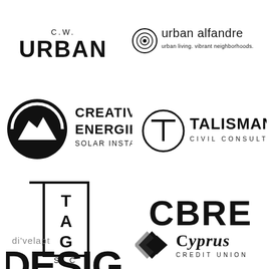[Figure (logo): C.W. URBAN logo in black text, bold sans-serif]
[Figure (logo): urban alfandre logo with concentric circle target icon, tagline urban living. vibrant neighborhoods.]
[Figure (logo): Creative Energies Solar Installer logo with black semicircle mountain silhouette icon]
[Figure (logo): Talisman Civil Consultants logo with T letter in circle]
[Figure (logo): TAG SLC logo with tall rectangular border and letters T A G vertically]
[Figure (logo): CBRE logo in large bold black sans-serif]
[Figure (logo): di'velapt design logo in lowercase with phonetic spelling, partially cut off]
[Figure (logo): Cyprus Credit Union logo with diamond/chevron icon]